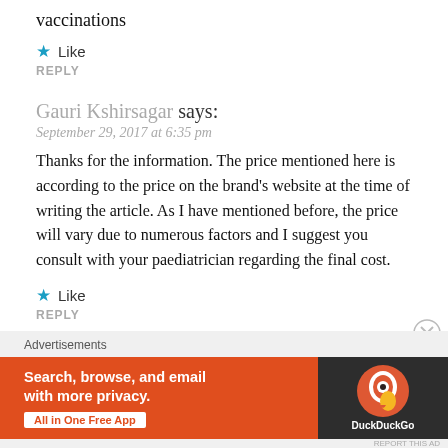vaccinations
★ Like
REPLY
Gauri Kshirsagar says:
September 29, 2017 at 6:35 pm
Thanks for the information. The price mentioned here is according to the price on the brand's website at the time of writing the article. As I have mentioned before, the price will vary due to numerous factors and I suggest you consult with your paediatrician regarding the final cost.
★ Like
REPLY
Advertisements
[Figure (other): DuckDuckGo advertisement banner: 'Search, browse, and email with more privacy. All in One Free App' with DuckDuckGo logo on dark background.]